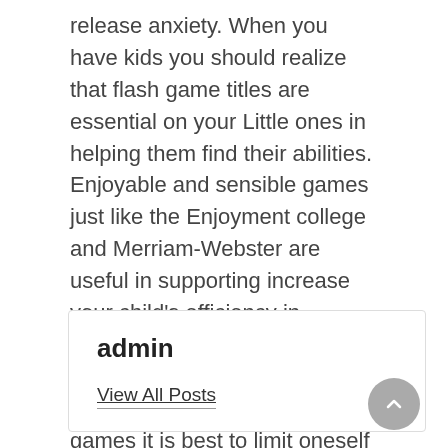release anxiety. When you have kids you should realize that flash game titles are essential on your Little ones in helping them find their abilities. Enjoyable and sensible games just like the Enjoyment college and Merriam-Webster are useful in supporting increase your child's efficiency in performing every day chores. It's not advisable to invest a lot of time enjoying these video games it is best to limit oneself and your son or daughter's playing time.
admin
View All Posts